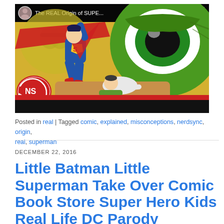[Figure (screenshot): YouTube video thumbnail showing 'The REAL Origin of SUPE...' with Superman comic art and a green monster/creature. Red play button in center. NS logo bottom left.]
Posted in real | Tagged comic, explained, misconceptions, nerdsync, origin, real, superman
DECEMBER 22, 2016
Little Batman Little Superman Take Over Comic Book Store Super Hero Kids Real Life DC Parody